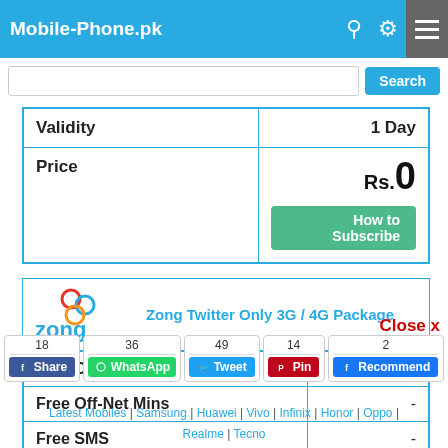Mobile-Phone.pk
| Validity | 1 Day |
| --- | --- |
| Price | Rs.0 |
| Zong Twitter Only 3G / 4G Package |
| --- |
| Free On-Net Mins | - |
| Free Off-Net Mins | - |
| Free SMS | - |
18 Share | 36 WhatsApp | 49 Tweet | 14 Pin | 2 Recommend
Latest Mobiles | Samsung | Huawei | Vivo | Infinix | Honor | Oppo | Realme | Tecno